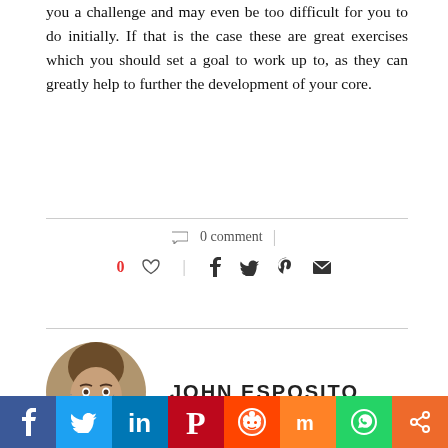you a challenge and may even be too difficult for you to do initially. If that is the case these are great exercises which you should set a goal to work up to, as they can greatly help to further the development of your core.
0 comment
0 ♡ | f 🐦  pinterest mail
[Figure (photo): Circular portrait photo of John Esposito, a man with short brown hair and stubble, wearing a red shirt.]
JOHN ESPOSITO
previous post
Expert Advice on Healthiest and the best to have Guide
[Figure (infographic): Bottom social share bar with icons for Facebook, Twitter, LinkedIn, Pinterest, Reddit, Mix, WhatsApp, and Share.]